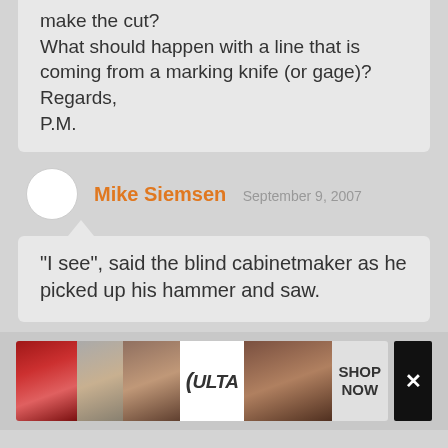make the cut?
What should happen with a line that is coming from a marking knife (or gage)?
Regards,
P.M.
Mike Siemsen   September 9, 2007
"I see", said the blind cabinetmaker as he picked up his hammer and saw.
[Figure (other): Advertisement banner for ULTA beauty featuring close-up images of lips, makeup brush, eye, ULTA logo, eye, SHOP NOW button, and close X button]